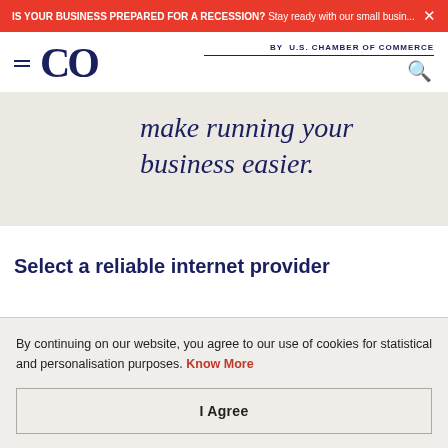IS YOUR BUSINESS PREPARED FOR A RECESSION? Stay ready with our small busin...
[Figure (logo): CO by U.S. Chamber of Commerce logo with hamburger menu and search icon]
make running your business easier.
Select a reliable internet provider
By continuing on our website, you agree to our use of cookies for statistical and personalisation purposes. Know More
I Agree